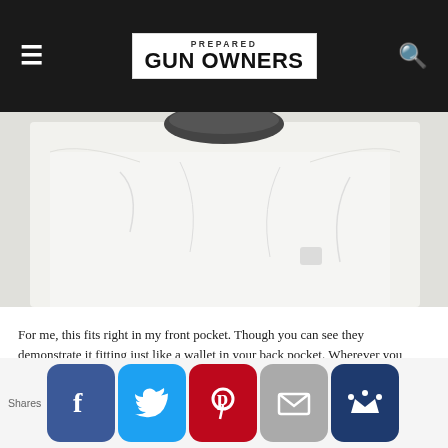PREPARED GUN OWNERS
[Figure (photo): Person wearing a white t-shirt, partial torso view against a light background]
For me, this fits right in my front pocket. Though you can see they demonstrate it fitting just like a wallet in your back pocket. Wherever you choose to carry it, this is a lot of life-saving med gear in a small package.
And because the tourniquet AND the gauze is vacuum sealed–it's slightly more compact than the DIY, rubber-band them
Shares